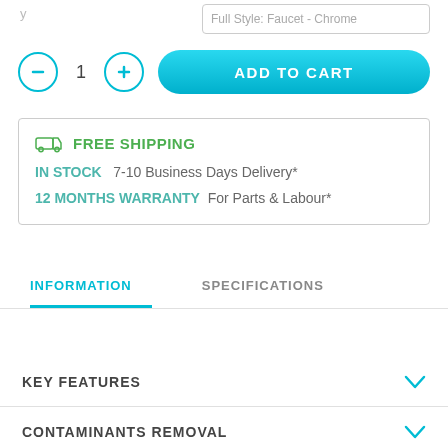[Figure (screenshot): Partial top bar with text input field cropped at top]
[Figure (infographic): Quantity selector with minus button, number 1, plus button, and Add to Cart button]
FREE SHIPPING
IN STOCK   7-10 Business Days Delivery*
12 MONTHS WARRANTY   For Parts & Labour*
INFORMATION
SPECIFICATIONS
KEY FEATURES
CONTAMINANTS REMOVAL